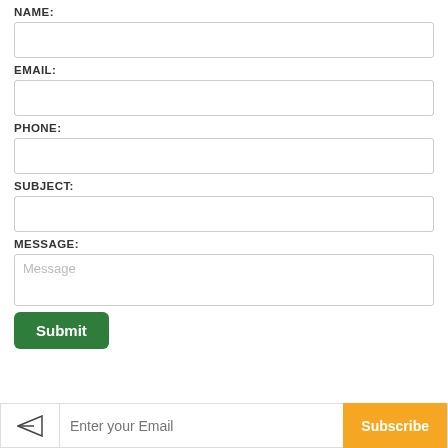NAME:
[Figure (other): Empty text input field for Name]
EMAIL:
[Figure (other): Empty text input field for Email]
PHONE:
[Figure (other): Empty text input field for Phone]
SUBJECT:
[Figure (other): Empty text input field for Subject]
MESSAGE:
[Figure (other): Textarea input with placeholder text 'Message']
Submit
[Figure (other): Subscribe bar with email input field and Subscribe button]